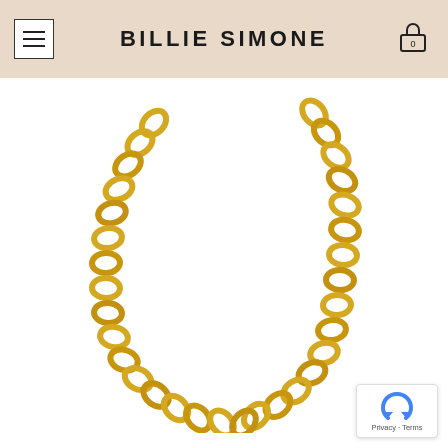BILLIE SIMONE
[Figure (photo): Gold oval link chain necklace on white background, forming a U-shape drape. The chain has large, rounded oval links in a bright yellow gold finish.]
Privacy · Terms